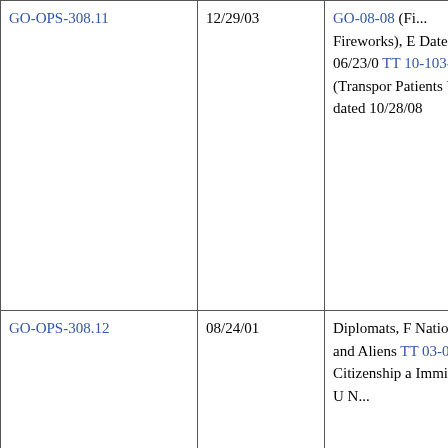| GO-OPS-308.11 | 12/29/03 | GO-08-08 (Fireworks), B Date 06/23/0 TT 10-103-08 (Transport Patients Und dated 10/28/08 |
| GO-OPS-308.12 | 08/24/01 | Diplomats, F Nationals and Aliens TT 03-022-0 Citizenship a Immigration U N... |